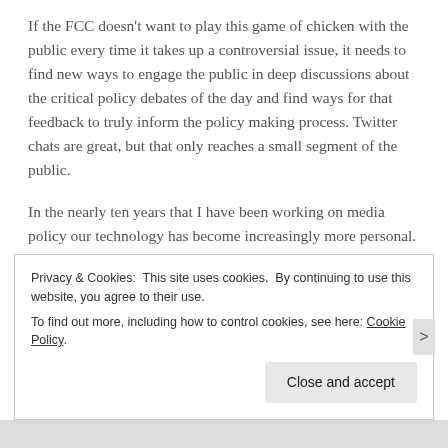If the FCC doesn't want to play this game of chicken with the public every time it takes up a controversial issue, it needs to find new ways to engage the public in deep discussions about the critical policy debates of the day and find ways for that feedback to truly inform the policy making process. Twitter chats are great, but that only reaches a small segment of the public.
In the nearly ten years that I have been working on media policy our technology has become increasingly more personal. As such, what used to be wonky policy debates are now of profound interest to many people who see how policy decisions impact how they use their TVs, phones and
Privacy & Cookies: This site uses cookies. By continuing to use this website, you agree to their use.
To find out more, including how to control cookies, see here: Cookie Policy

Close and accept